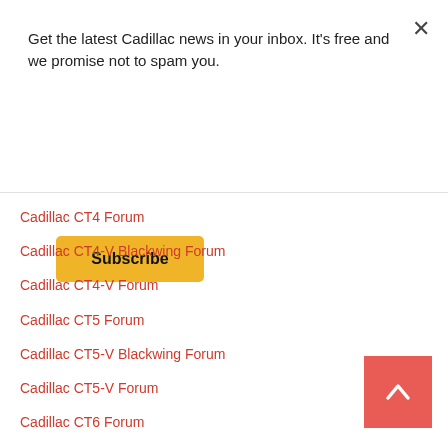Get the latest Cadillac news in your inbox. It's free and we promise not to spam you.
Subscribe
Cadillac CT4 Forum
Cadillac CT4-V Blackwing Forum
Cadillac CT4-V Forum
Cadillac CT5 Forum
Cadillac CT5-V Blackwing Forum
Cadillac CT5-V Forum
Cadillac CT6 Forum
Cadillac CT6-V Forum